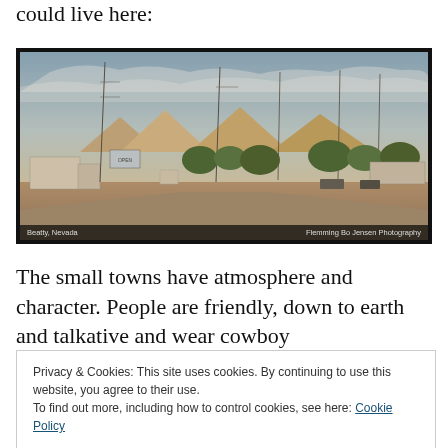could live here:
[Figure (photo): Panoramic photograph of Beatty, Nevada. A small desert town with low commercial buildings, power lines, distant mountains, and trees under a partly cloudy sky. Caption reads 'Beatty, Nevada' on the left and 'Flemming Bo Jensen Photography' on the right.]
The small towns have atmosphere and character. People are friendly, down to earth and talkative and wear cowboy
Privacy & Cookies: This site uses cookies. By continuing to use this website, you agree to their use.
To find out more, including how to control cookies, see here: Cookie Policy
Close and accept